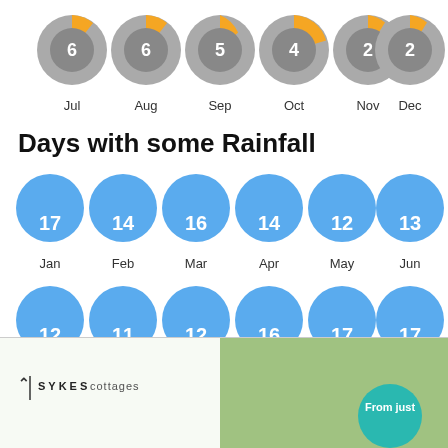[Figure (donut-chart): Six donut/pie charts showing sunshine days per month for Jul(6), Aug(6), Sep(5), Oct(4), Nov(2), Dec(2)]
Days with some Rainfall
[Figure (infographic): Rainfall day count circles with cloud icons for Jan(17), Feb(14), Mar(16), Apr(14), May(12), Jun(13), Jul(12), Aug(11), Sep(12), Oct(16), Nov(17), Dec(17)]
[Figure (other): Show More button - blue rectangular button]
[Figure (photo): Sykes Cottages advertisement banner with logo, scenic green background and 'From just' circular badge]